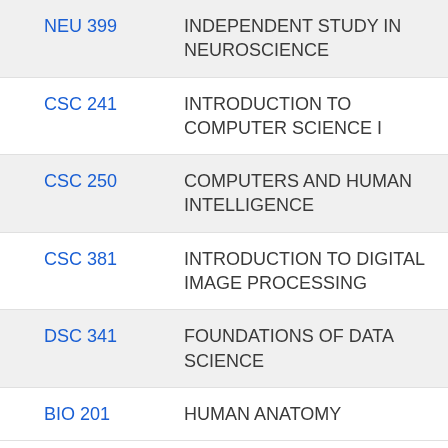NEU 399 INDEPENDENT STUDY IN NEUROSCIENCE
CSC 241 INTRODUCTION TO COMPUTER SCIENCE I
CSC 250 COMPUTERS AND HUMAN INTELLIGENCE
CSC 381 INTRODUCTION TO DIGITAL IMAGE PROCESSING
DSC 341 FOUNDATIONS OF DATA SCIENCE
BIO 201 HUMAN ANATOMY